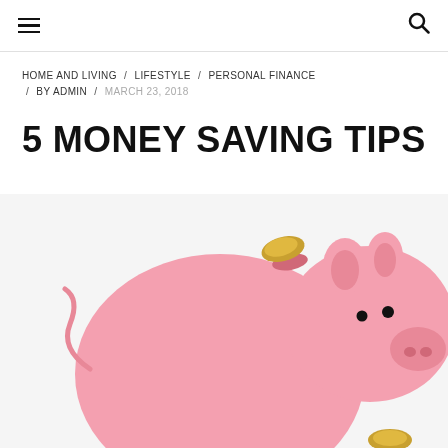≡  🔍
HOME AND LIVING / LIFESTYLE / PERSONAL FINANCE / BY ADMIN / MARCH 23, 2018
5 MONEY SAVING TIPS
[Figure (photo): Pink ceramic piggy bank with a gold coin on top and another coin on the ground next to it, on a white background]